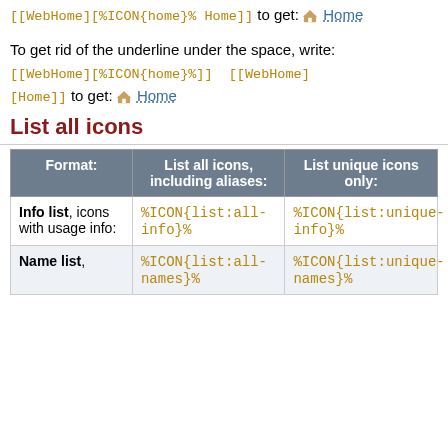To create a link with an image, write: [[WebHome][%ICON{home}% Home]] to get: 🏠 Home
To get rid of the underline under the space, write: [[WebHome][%ICON{home}%]] [[WebHome][Home]] to get: 🏠 Home
List all icons
| Format: | List all icons, including aliases: | List unique icons only: |
| --- | --- | --- |
| Info list, icons with usage info: | %ICON{list:all-info}% | %ICON{list:unique-info}% |
| Name list, | %ICON{list:all-names}% | %ICON{list:unique-names}% |